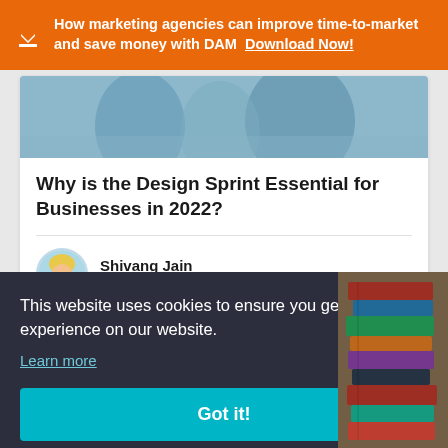How marketing agencies can improve time-to-market and save money with DAM   Download Now!
[Figure (photo): Partial photo of people, shown as article header image]
Why is the Design Sprint Essential for Businesses in 2022?
[Figure (illustration): Cartoon avatar of author Shivang Jain]
Shivang Jain
9 August 2022
This website uses cookies to ensure you get the best experience on our website.
Learn more
Got it!
[Figure (photo): Stack of books on the right side]